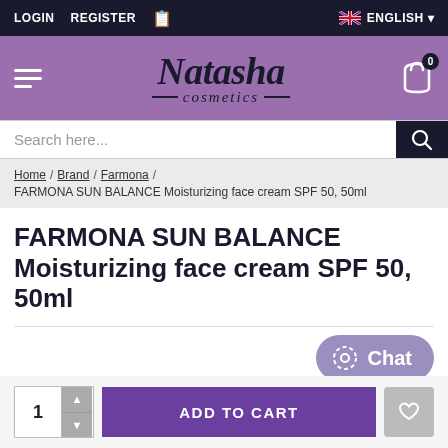LOGIN   REGISTER   [icon]   ENGLISH
[Figure (logo): Natasha Cosmetics logo with hamburger menu and cart icon on purple background]
Search here...
Home / Brand / Farmona / FARMONA SUN BALANCE Moisturizing face cream SPF 50, 50ml
FARMONA SUN BALANCE Moisturizing face cream SPF 50, 50ml
[Figure (other): Chat button]
1   ADD TO CART   [wishlist heart icon]